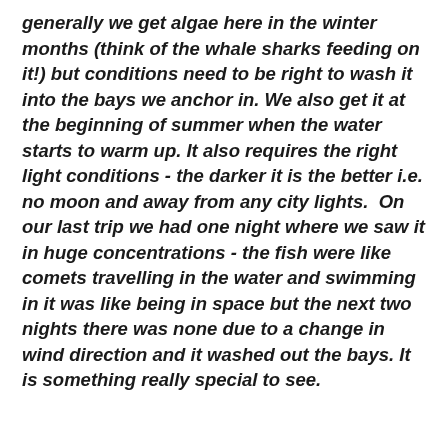generally we get algae here in the winter months (think of the whale sharks feeding on it!) but conditions need to be right to wash it into the bays we anchor in. We also get it at the beginning of summer when the water starts to warm up. It also requires the right light conditions - the darker it is the better i.e. no moon and away from any city lights.  On our last trip we had one night where we saw it in huge concentrations - the fish were like comets travelling in the water and swimming in it was like being in space but the next two nights there was none due to a change in wind direction and it washed out the bays. It is something really special to see.